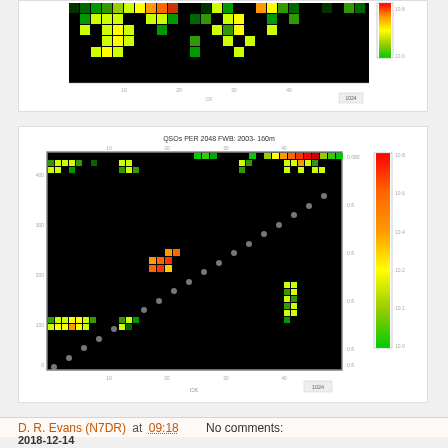[Figure (other): Partial heatmap/grid chart showing QSO data, color-coded from green to red/orange on black background, with color scale bar on right side (green). Bottom portion of a larger chart, partially visible at top of page.]
[Figure (other): Heatmap grid chart titled 'QSOs PER 2048 FWB: 2003- 160m' showing contacts between grid squares on black background. X and Y axes labeled 'CK' with numerical scale. Color scale bar on right side ranging from green (low) to red (high). A diagonal line of grey/white dots runs from lower-left to upper-right.]
D. R. Evans (N7DR) at 09:18    No comments:
2018-12-14